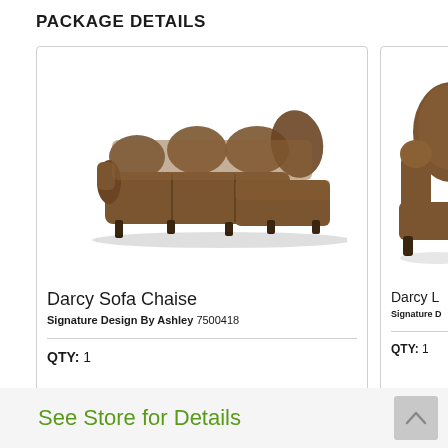PACKAGE DETAILS
[Figure (photo): Brown fabric Darcy Sofa Chaise with chaise on right side, L-shaped sectional]
Darcy Sofa Chaise
Signature Design By Ashley 7500418
QTY: 1
[Figure (photo): Partial view of brown fabric Darcy loveseat/chair arm and back]
Darcy L
Signature D
QTY: 1
See Store for Details